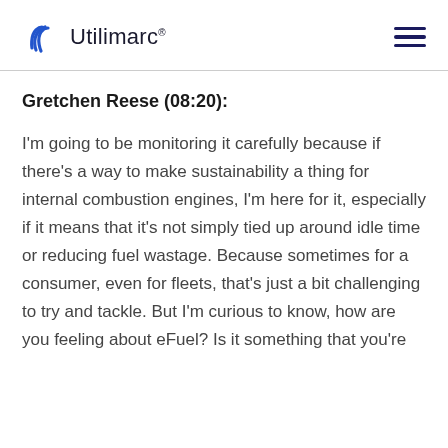Utilimarc®
Gretchen Reese (08:20):
I'm going to be monitoring it carefully because if there's a way to make sustainability a thing for internal combustion engines, I'm here for it, especially if it means that it's not simply tied up around idle time or reducing fuel wastage. Because sometimes for a consumer, even for fleets, that's just a bit challenging to try and tackle. But I'm curious to know, how are you feeling about eFuel? Is it something that you're